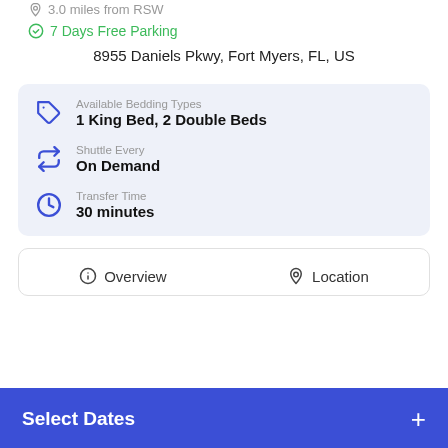3.0 miles from RSW
7 Days Free Parking
8955 Daniels Pkwy, Fort Myers, FL, US
Available Bedding Types: 1 King Bed, 2 Double Beds
Shuttle Every: On Demand
Transfer Time: 30 minutes
Overview
Location
Select Dates